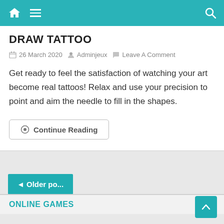Navigation bar with home, menu, and search icons
DRAW TATTOO
26 March 2020  Adminjeux  Leave A Comment
Get ready to feel the satisfaction of watching your art become real tattoos! Relax and use your precision to point and aim the needle to fill in the shapes.
Continue Reading
◄ Older po...
ONLINE GAMES